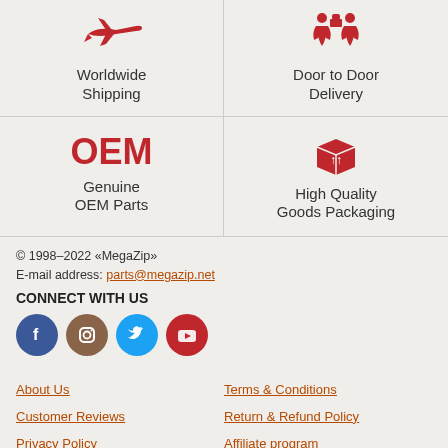[Figure (illustration): Red airplane icon for Worldwide Shipping]
Worldwide Shipping
[Figure (illustration): Red door-to-door delivery icon]
Door to Door Delivery
[Figure (illustration): OEM text in red with Genuine OEM Parts label]
Genuine OEM Parts
[Figure (illustration): Red package/box icon for High Quality Goods Packaging]
High Quality Goods Packaging
© 1998–2022 «MegaZip»
E-mail address: parts@megazip.net
CONNECT WITH US
[Figure (illustration): Social media icons: Facebook, Instagram, Twitter, YouTube]
About Us
Terms & Conditions
Customer Reviews
Return & Refund Policy
Privacy Policy
Affiliate program